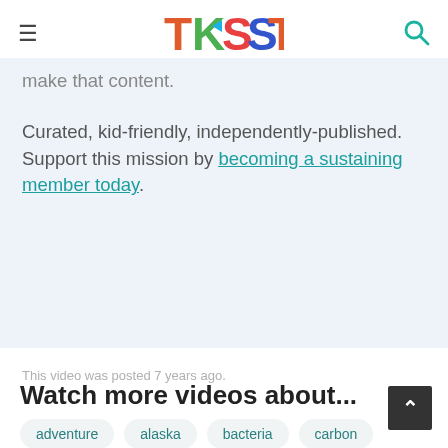TKSST
make that content.
Curated, kid-friendly, independently-published. Support this mission by becoming a sustaining member today.
This video was posted 7 years ago.
Watch more videos about...
adventure
alaska
bacteria
carbon
carbon dioxide
climate
climate change